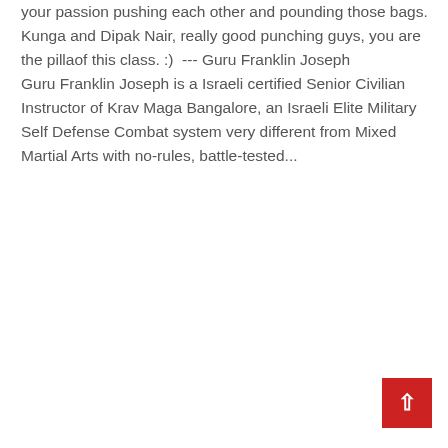your passion pushing each other and pounding those bags. Kunga and Dipak Nair, really good punching guys, you are the pillaof this class. :)  --- Guru Franklin JosephGuru Franklin Joseph is a Israeli certified Senior Civilian Instructor of Krav Maga Bangalore, an Israeli Elite Military Self Defense Combat system very different from Mixed Martial Arts with no-rules, battle-tested...
[Figure (other): Red 'Read More' button]
[Figure (other): Green circle phone icon button]
[Figure (other): Pagination: active page 1 (dark background), page 2, Next button]
[Figure (other): Red scroll-to-top button with upward arrow in bottom right corner]